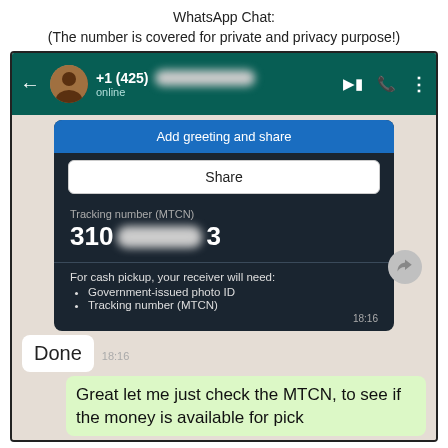WhatsApp Chat:
(The number is covered for private and privacy purpose!)
[Figure (screenshot): WhatsApp chat screenshot showing a contact with number +1 (425) [redacted], status 'online'. A message contains a Western Union transfer confirmation with 'Add greeting and share' button, a 'Share' button, tracking number (MTCN) starting with 310-[redacted]-3, and instructions for cash pickup requiring Government-issued photo ID and Tracking number (MTCN), sent at 18:16. Below is an outgoing message 'Done' at 18:16, and an incoming green message 'Great let me just check the MTCN, to see if the money is available for pick']